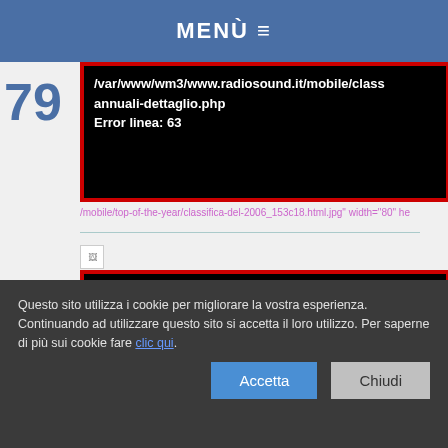MENÙ ≡
/var/www/wm3/www.radiosound.it/mobile/class annuali-dettaglio.php
Error linea: 63
/mobile/top-of-the-year/classifica-del-2006_153c18.html.jpg" width="80" he
Error: [8] Undefined offset: 5
Error file:
/var/www/wm3/www.radiosound.it/mobile/class annuali-dettaglio.php
Error linea: 63
/mobile/top-of-the-year/classifica-del-2006_153c18.html.jpg" width="80" he
Questo sito utilizza i cookie per migliorare la vostra esperienza. Continuando ad utilizzare questo sito si accetta il loro utilizzo. Per saperne di più sui cookie fare clic qui.